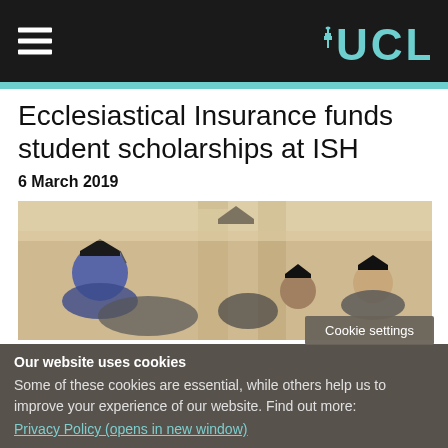UCL
Ecclesiastical Insurance funds student scholarships at ISH
6 March 2019
[Figure (photo): Graduation ceremony photo showing students in graduation caps and gowns, with one student wearing a blue turban, in front of classical columns]
Cookie settings
Our website uses cookies
Some of these cookies are essential, while others help us to improve your experience of our website. Find out more:
Privacy Policy (opens in new window)